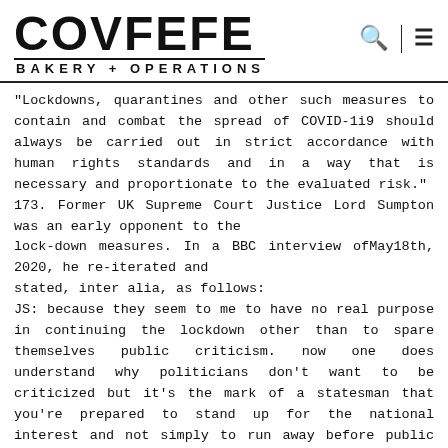COVFEFE BAKERY + OPERATIONS
"Lockdowns, quarantines and other such measures to contain and combat the spread of COVID-1i9 should always be carried out in strict accordance with human rights standards and in a way that is necessary and proportionate to the evaluated risk." 173. Former UK Supreme Court Justice Lord Sumpton was an early opponent to the lock-down measures. In a BBC interview ofMay18th, 2020, he re-iterated and stated, inter alia, as follows: JS: because they seem to me to have no real purpose in continuing the lockdown other than to spare themselves public criticism. now one does understand why politicians don't want to be criticized but it's the mark of a statesman that you're prepared to stand up for the national interest and not simply to run away before public opinion. especially when you have in a sense created that public opinion yourself by frightening the daylights out of people over the over the last eight weeks and